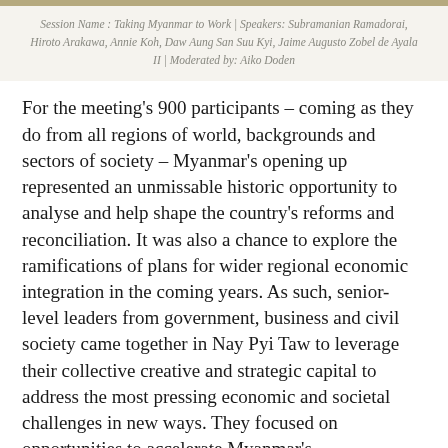Session Name : Taking Myanmar to Work | Speakers: Subramanian Ramadorai, Hiroto Arakawa, Annie Koh, Daw Aung San Suu Kyi, Jaime Augusto Zobel de Ayala II | Moderated by: Aiko Doden
For the meeting's 900 participants – coming as they do from all regions of world, backgrounds and sectors of society – Myanmar's opening up represented an unmissable historic opportunity to analyse and help shape the country's reforms and reconciliation. It was also a chance to explore the ramifications of plans for wider regional economic integration in the coming years. As such, senior-level leaders from government, business and civil society came together in Nay Pyi Taw to leverage their collective creative and strategic capital to address the most pressing economic and societal challenges in new ways. They focused on opportunities to accelerate Myanmar's growth.balanced with a significant social and inclusive development agenda to benefit all stakeholders through responsible investments. Across South East Asia, the idea of regional economic integration is gathering